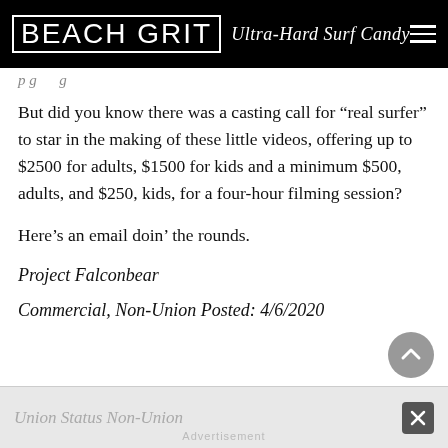BEACH GRIT Ultra-Hard Surf Candy
But did you know there was a casting call for “real surfer” to star in the making of these little videos, offering up to $2500 for adults, $1500 for kids and a minimum $500, adults, and $250, kids, for a four-hour filming session?
Here’s an email doin’ the rounds.
Project Falconbear
Commercial, Non-Union Posted: 4/6/2020
Union Status Non-Union